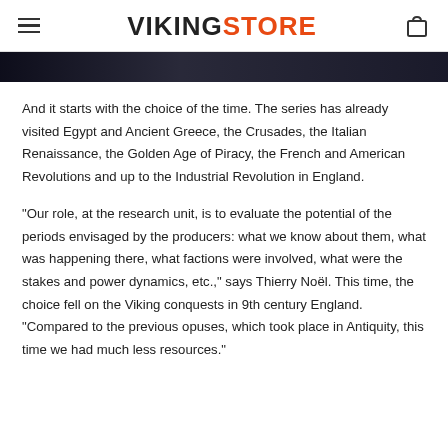VIKINGSTORE
[Figure (photo): Dark hero image strip at top of page]
And it starts with the choice of the time. The series has already visited Egypt and Ancient Greece, the Crusades, the Italian Renaissance, the Golden Age of Piracy, the French and American Revolutions and up to the Industrial Revolution in England.
"Our role, at the research unit, is to evaluate the potential of the periods envisaged by the producers: what we know about them, what was happening there, what factions were involved, what were the stakes and power dynamics, etc.," says Thierry Noël. This time, the choice fell on the Viking conquests in 9th century England. "Compared to the previous opuses, which took place in Antiquity, this time we had much less resources."